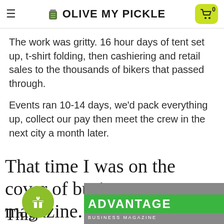OLIVE MY PICKLE
The work was gritty. 16 hour days of tent set up, t-shirt folding, then cashiering and retail sales to the thousands of bikers that passed through.
Events ran 10-14 days, we'd pack everything up, collect our pay then meet the crew in the next city a month later.
That time I was on the cover of business magazine.
[Figure (photo): Partial view of Advantage Business Magazine cover with a hand visible, green Advantage banner at bottom, and a circular gift icon button overlay on the left side.]